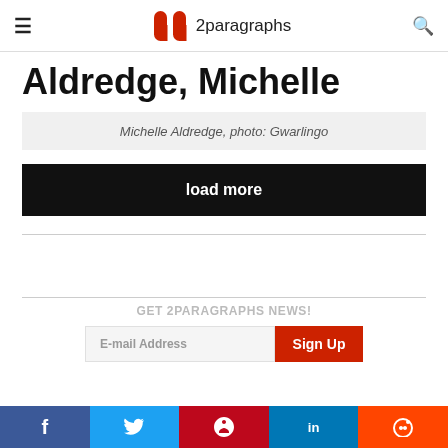2paragraphs
Aldredge, Michelle
Michelle Aldredge, photo: Gwarlingo
load more
GET 2PARAGRAPHS NEWS!
E-mail Address
Sign Up